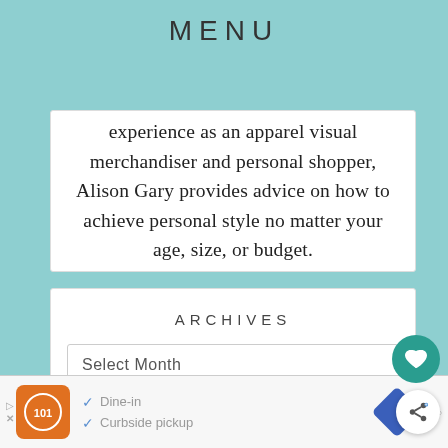MENU
experience as an apparel visual merchandiser and personal shopper, Alison Gary provides advice on how to achieve personal style no matter your age, size, or budget.
ARCHIVES
Select Month
[Figure (screenshot): Ad banner at bottom showing logo, Dine-in and Curbside pickup checkmarks, navigation arrow icon, and weather/temperature widget icon]